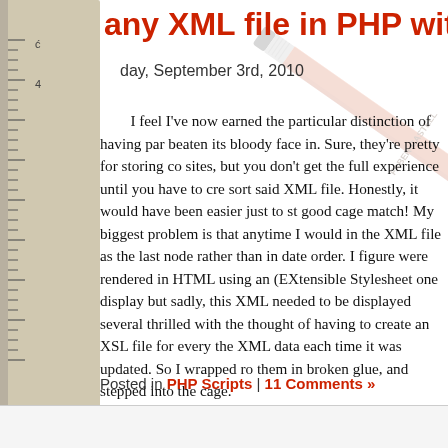[Figure (photo): Background decorative photo showing a wooden ruler on the left, a Faber-Castell pencil diagonally across the page, and a Splenda sugar packet in the lower-left corner, with tape roll at bottom-left.]
any XML file in PHP with one
day, September 3rd, 2010
I feel I've now earned the particular distinction of having par beaten its bloody face in. Sure, they're pretty for storing co sites, but you don't get the full experience until you have to cre sort said XML file. Honestly, it would have been easier just to st good cage match! My biggest problem is that anytime I would in the XML file as the last node rather than in date order. I figure were rendered in HTML using an (EXtensible Stylesheet one display but sadly, this XML needed to be displayed several thrilled with the thought of having to create an XSL file for every the XML data each time it was updated. So I wrapped ro them in broken glue, and stepped into the cage.
Posted in PHP Scripts | 11 Comments »